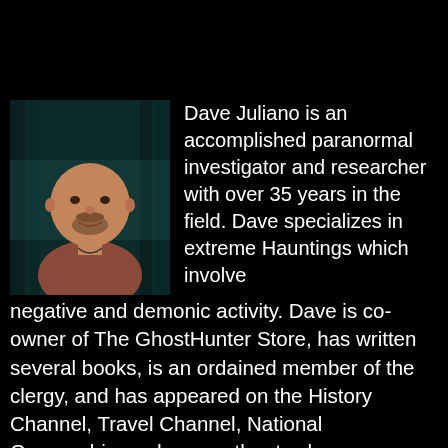[Figure (photo): Headshot of Dave Juliano, a middle-aged bald man with a goatee, wearing a casual shirt, set against a dark forested background with teal/blue tones.]
Dave Juliano is an accomplished paranormal investigator and researcher with over 35 years in the field. Dave specializes in extreme Hauntings which involve negative and demonic activity. Dave is co-owner of The GhostHunter Store, has written several books, is an ordained member of the clergy, and has appeared on the History Channel, Travel Channel, National Geographic, and many other tv shows, magazines, books, and radio shows.